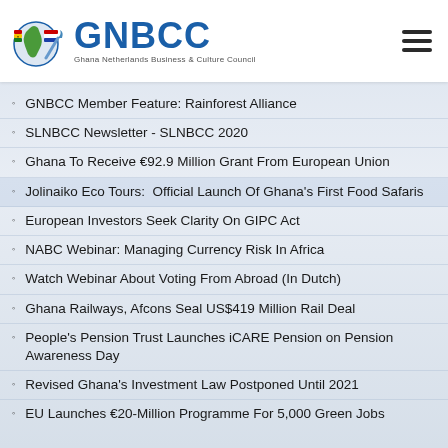GNBCC — Ghana Netherlands Business & Culture Council
GNBCC Member Feature: Rainforest Alliance
SLNBCC Newsletter - SLNBCC 2020
Ghana To Receive €92.9 Million Grant From European Union
Jolinaiko Eco Tours:  Official Launch Of Ghana's First Food Safaris
European Investors Seek Clarity On GIPC Act
NABC Webinar: Managing Currency Risk In Africa
Watch Webinar About Voting From Abroad (In Dutch)
Ghana Railways, Afcons Seal US$419 Million Rail Deal
People's Pension Trust Launches iCARE Pension on Pension Awareness Day
Revised Ghana's Investment Law Postponed Until 2021
EU Launches €20-Million Programme For 5,000 Green Jobs